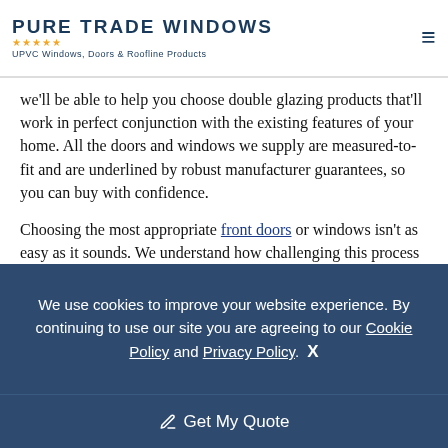PURE TRADE WINDOWS — UPVC Windows, Doors & Roofline Products
we'll be able to help you choose double glazing products that'll work in perfect conjunction with the existing features of your home. All the doors and windows we supply are measured-to-fit and are underlined by robust manufacturer guarantees, so you can buy with confidence.
Choosing the most appropriate front doors or windows isn't as easy as it sounds. We understand how challenging this process can be, which is why we'll make a point of sitting down with you to discuss your design objectives at the very beginning. It doesn't matter whether you own a terraced house with a small garden or a sprawling country pile – we'll be able to overcome any limitations posed by its architectural design and create a design that'll play to its strengths instead – so you can buy double glazing in Basingstoke from us in confidence.
As the most... preferred local installer. There are many companies locally claiming to offer the best double glazing in Basingstoke – so how can you tell
We use cookies to improve your website experience. By continuing to use our site you are agreeing to our Cookie Policy and Privacy Policy. X
Get My Quote